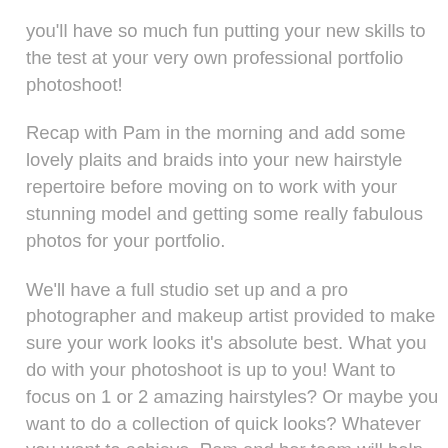you'll have so much fun putting your new skills to the test at your very own professional portfolio photoshoot!
Recap with Pam in the morning and add some lovely plaits and braids into your new hairstyle repertoire before moving on to work with your stunning model and getting some really fabulous photos for your portfolio.
We'll have a full studio set up and a pro photographer and makeup artist provided to make sure your work looks it's absolute best. What you do with your photoshoot is up to you! Want to focus on 1 or 2 amazing hairstyles? Or maybe you want to do a collection of quick looks? Whatever you want to achieve, Pam and her team will help you get there. [/vc_column_text][/vc_column][vc_column width="1/2"] [vc_single_image image="19172" img_size="full"